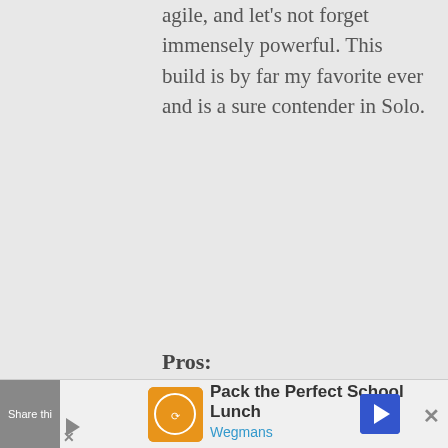agile, and let's not forget immensely powerful. This build is by far my favorite ever and is a sure contender in Solo.
Pros:
[Figure (other): Advertisement banner at the bottom of the page showing 'Pack the Perfect School Lunch' ad for Wegmans with an orange logo icon, blue navigation arrow, share button on left, and close button on right.]